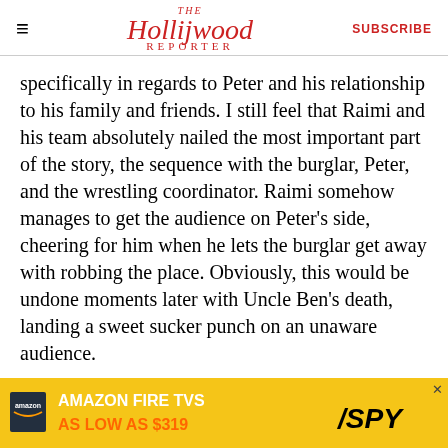THE Hollywood Reporter | SUBSCRIBE
specifically in regards to Peter and his relationship to his family and friends. I still feel that Raimi and his team absolutely nailed the most important part of the story, the sequence with the burglar, Peter, and the wrestling coordinator. Raimi somehow manages to get the audience on Peter’s side, cheering for him when he lets the burglar get away with robbing the place. Obviously, this would be undone moments later with Uncle Ben’s death, landing a sweet sucker punch on an unaware audience.
After several years of reading Brian Michael Bendis
[Figure (other): Amazon Fire TVs advertisement banner: AMAZON FIRE TVS AS LOW AS $319, with SPY logo]